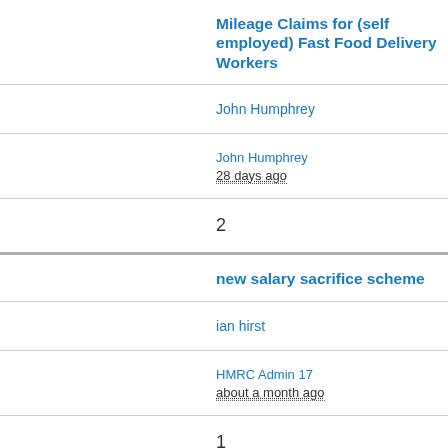Mileage Claims for (self employed) Fast Food Delivery Workers
John Humphrey
John Humphrey
28 days ago
2
new salary sacrifice scheme
ian hirst
HMRC Admin 17
about a month ago
1
Recharging of expenses
Donna Grimmer